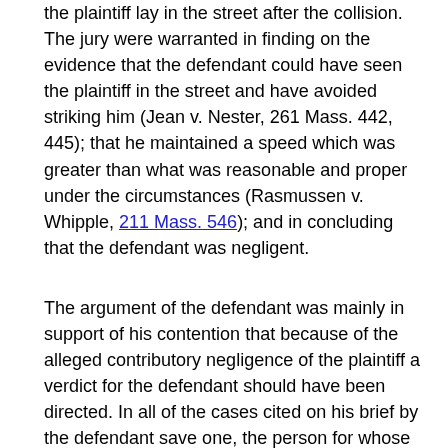the plaintiff lay in the street after the collision. The jury were warranted in finding on the evidence that the defendant could have seen the plaintiff in the street and have avoided striking him (Jean v. Nester, 261 Mass. 442, 445); that he maintained a speed which was greater than what was reasonable and proper under the circumstances (Rasmussen v. Whipple, 211 Mass. 546); and in concluding that the defendant was negligent.
The argument of the defendant was mainly in support of his contention that because of the alleged contributory negligence of the plaintiff a verdict for the defendant should have been directed. In all of the cases cited on his brief by the defendant save one, the person for whose injury or death recovery was sought was an adult. In that one case (Sullivan v. Chadwick,